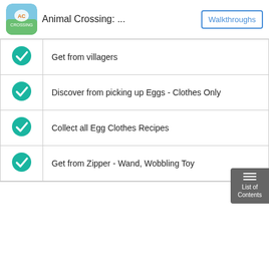Animal Crossing: ... | Walkthroughs
|  |  |
| --- | --- |
| ✓ | Get from villagers |
| ✓ | Discover from picking up Eggs - Clothes Only |
| ✓ | Collect all Egg Clothes Recipes |
| ✓ | Get from Zipper - Wand, Wobbling Toy |
List of Contents